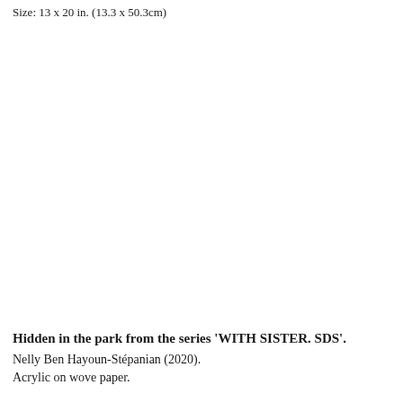Size: 13 x 20 in. (13.3 x 50.3cm)
Hidden in the park from the series 'WITH SISTER. SDS'.
Nelly Ben Hayoun-Stépanian (2020).
Acrylic on wove paper.